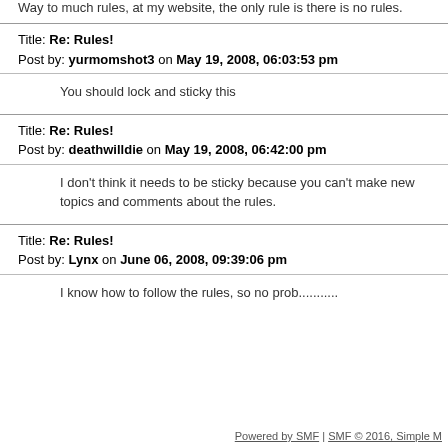Way to much rules, at my website, the only rule is there is no rules.
Title: Re: Rules!
Post by: yurmomshot3 on May 19, 2008, 06:03:53 pm
You should lock and sticky this
Title: Re: Rules!
Post by: deathwilldie on May 19, 2008, 06:42:00 pm
I don't think it needs to be sticky because you can't make new topics and comments about the rules.
Title: Re: Rules!
Post by: Lynx on June 06, 2008, 09:39:06 pm
I know how to follow the rules, so no prob...........
Powered by SMF | SMF © 2016, Simple M